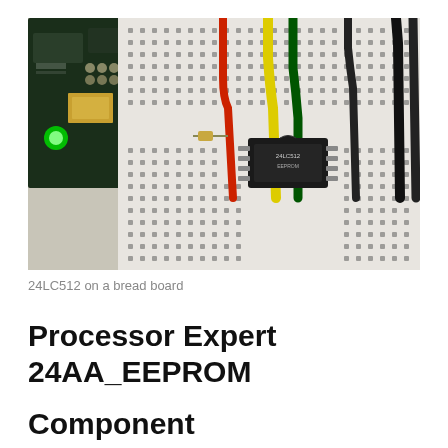[Figure (photo): A 24LC512 EEPROM chip mounted on a white breadboard with colorful jumper wires (red, yellow, green, black) connected to it. A circuit board with a green LED is visible on the left side.]
24LC512 on a bread board
Processor Expert 24AA_EEPROM
Component